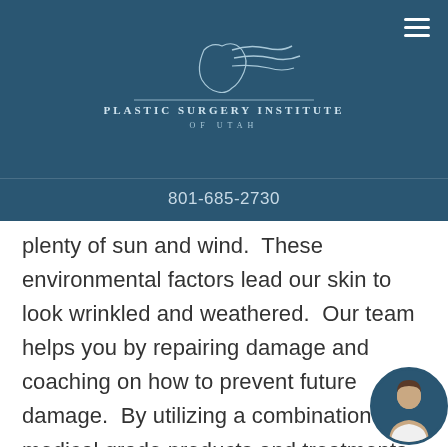[Figure (logo): Plastic Surgery Institute of Utah logo — line art of a face profile with flowing lines, text reading PLASTIC SURGERY INSTITUTE OF UTAH]
801-685-2730
plenty of sun and wind.  These environmental factors lead our skin to look wrinkled and weathered.  Our team helps you by repairing damage and coaching on how to prevent future damage.  By utilizing a combination of medical grade products and treatments our MedSpa clients truly receive a comprehensive care program for their skin.  This not only